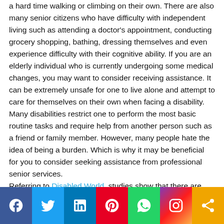a hard time walking or climbing on their own. There are also many senior citizens who have difficulty with independent living such as attending a doctor's appointment, conducting grocery shopping, bathing, dressing themselves and even experience difficulty with their cognitive ability. If you are an elderly individual who is currently undergoing some medical changes, you may want to consider receiving assistance. It can be extremely unsafe for one to live alone and attempt to care for themselves on their own when facing a disability. Many disabilities restrict one to perform the most basic routine tasks and require help from another person such as a friend or family member. However, many people hate the idea of being a burden. Which is why it may be beneficial for you to consider seeking assistance from professional senior services.

Referring to Disabled World, studies show that there are about more than 10 percent of the entire globe's population that happens to be living with a disability. As people grow
[Figure (other): Social media sharing bar with icons for Facebook, Twitter, LinkedIn, Pinterest, WhatsApp, Instagram, and a share button]